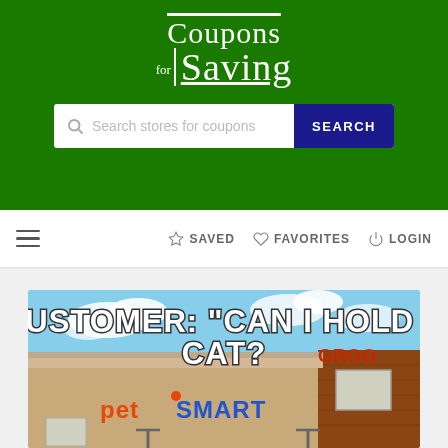[Figure (logo): Coupons for Saving website logo in white text on green background]
[Figure (screenshot): Search bar with 'Search stores for coupons' placeholder and a dark blue SEARCH button]
≡  ☆ SAVED  ♡ FAVORITES  ⏻LOGIN
[Figure (photo): Meme image showing a PetSmart store exterior with text 'CUSTOMER: CAN I HOLD A CAT?' in bold white Impact font with dark outline, blue sky background with clouds]